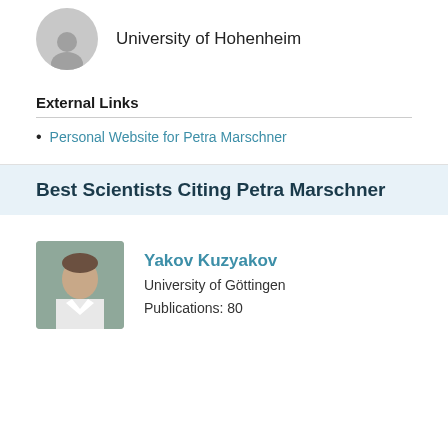[Figure (photo): Gray silhouette avatar placeholder for a person]
University of Hohenheim
External Links
Personal Website for Petra Marschner
Best Scientists Citing Petra Marschner
[Figure (photo): Photo of Yakov Kuzyakov, a man in a white shirt]
Yakov Kuzyakov
University of Göttingen
Publications: 80